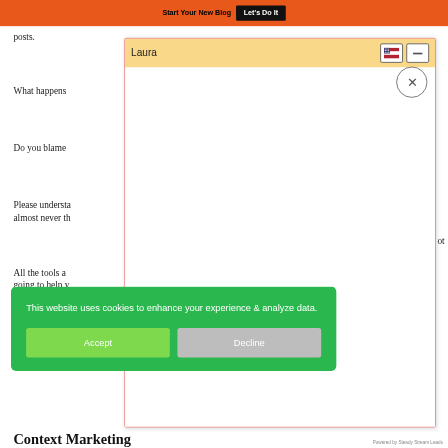Start Your New Blog  Let's Do It
posts.
What happens
Do you blame
Please understa almost never th
All the tools a going to help y ot
[Figure (screenshot): Chat popup with header 'Laura', flag icon, minimize button, and close circle button with X]
[Figure (screenshot): Cookie consent popup with green background saying 'This website uses cookies to enhance your experience & analyze data.' with Accept (light green) and Decline (gray) buttons]
Powered by Steady Stream Leads
Context Marketing